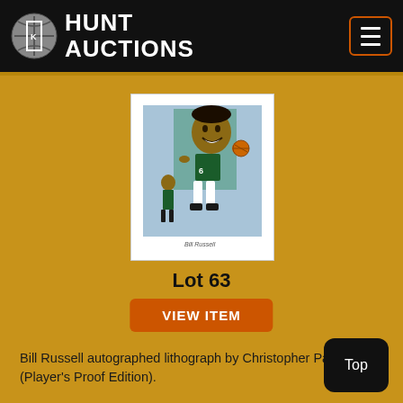Hunt Auctions
[Figure (illustration): Auction lot image: Bill Russell autographed lithograph by Christopher Paluso showing basketball player in Celtics uniform, multiple poses, smiling portrait at top]
Lot 63
VIEW ITEM
Bill Russell autographed lithograph by Christopher Paluso (Player's Proof Edition).
Est. Price Range
($250-$500)